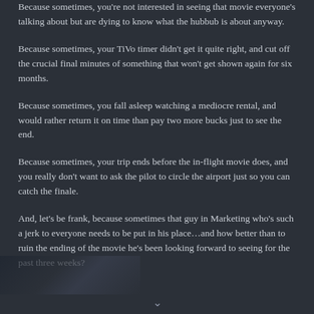Because sometimes, you're not interested in seeing that movie everyone's talking about but are dying to know what the hubbub is about anyway.
Because sometimes, your TiVo timer didn't get it quite right, and cut off the crucial final minutes of something that won't get shown again for six months.
Because sometimes, you fall asleep watching a mediocre rental, and would rather return it on time than pay two more bucks just to see the end.
Because sometimes, your trip ends before the in-flight movie does, and you really don't want to ask the pilot to circle the airport just so you can catch the finale.
And, let's be frank, because sometimes that guy in Marketing who's such a jerk to everyone needs to be put in his place…and how better than to ruin the ending of the movie he's been looking forward to seeing for the past three weeks?